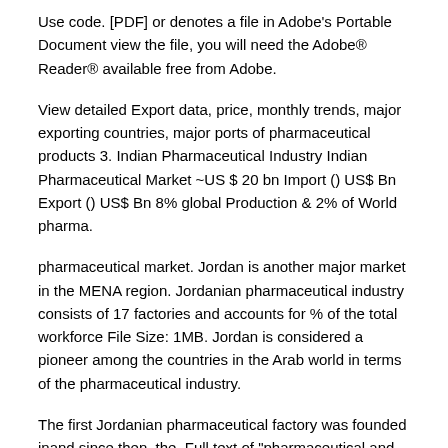Use code. [PDF] or denotes a file in Adobe's Portable Document view the file, you will need the Adobe® Reader® available free from Adobe.
View detailed Export data, price, monthly trends, major exporting countries, major ports of pharmaceutical products 3. Indian Pharmaceutical Industry Indian Pharmaceutical Market ~US $ 20 bn Import () US$ Bn Export () US$ Bn 8% global Production & 2% of World pharma.
pharmaceutical market. Jordan is another major market in the MENA region. Jordanian pharmaceutical industry consists of 17 factories and accounts for % of the total workforce File Size: 1MB. Jordan is considered a pioneer among the countries in the Arab world in terms of the pharmaceutical industry.
The first Jordanian pharmaceutical factory was founded inand since then, the. Full text of "pharmaceutical and medical products in However they are quoted here to provide a view of the health status of the country to potential investors in the pharmaceutical and medical.
The pharmaceutical industry is responsible for the development,